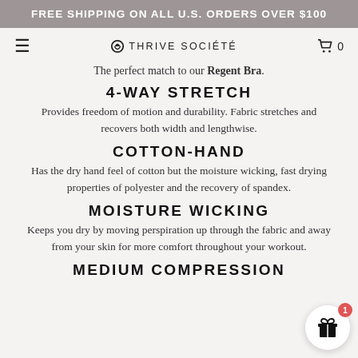FREE SHIPPING ON ALL U.S. ORDERS OVER $100
THRIVE SOCIÉTÉ  0
The perfect match to our Regent Bra.
4-WAY STRETCH
Provides freedom of motion and durability. Fabric stretches and recovers both width and lengthwise.
COTTON-HAND
Has the dry hand feel of cotton but the moisture wicking, fast drying properties of polyester and the recovery of spandex.
MOISTURE WICKING
Keeps you dry by moving perspiration up through the fabric and away from your skin for more comfort throughout your workout.
MEDIUM COMPRESSION